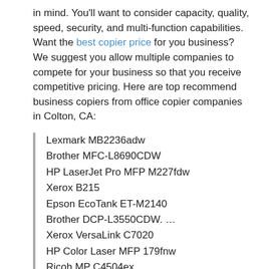in mind. You'll want to consider capacity, quality, speed, security, and multi-function capabilities. Want the best copier price for you business? We suggest you allow multiple companies to compete for your business so that you receive competitive pricing. Here are top recommend business copiers from office copier companies in Colton, CA:
Lexmark MB2236adw
Brother MFC-L8690CDW
HP LaserJet Pro MFP M227fdw
Xerox B215
Epson EcoTank ET-M2140
Brother DCP-L3550CDW. …
Xerox VersaLink C7020
HP Color Laser MFP 179fnw
Ricoh MP C4504ex
2022 Copier Prices